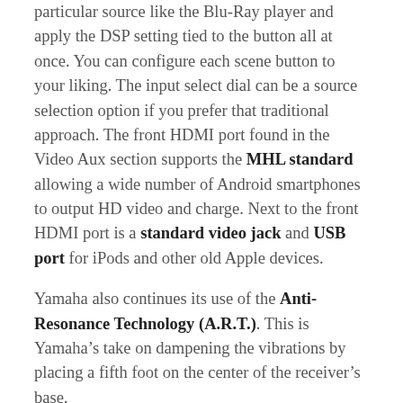particular source like the Blu-Ray player and apply the DSP setting tied to the button all at once. You can configure each scene button to your liking. The input select dial can be a source selection option if you prefer that traditional approach. The front HDMI port found in the Video Aux section supports the MHL standard allowing a wide number of Android smartphones to output HD video and charge. Next to the front HDMI port is a standard video jack and USB port for iPods and other old Apple devices.
Yamaha also continues its use of the Anti-Resonance Technology (A.R.T.). This is Yamaha’s take on dampening the vibrations by placing a fifth foot on the center of the receiver’s base.